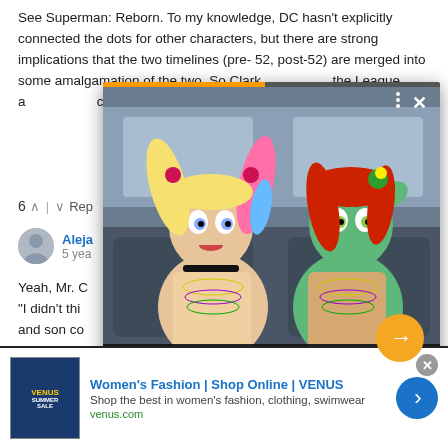See Superman: Reborn. To my knowledge, DC hasn't explicitly connected the dots for other characters, but there are strong implications that the two timelines (pre-52, post-52) are merged into some amalgamation of the two. So Clark... the League, a... continuity. And... few arcs of Ba...
6 ^ | v Rep
Aleja... 5 yea...
Yeah, Mr. C... "I didn't thi... and son co... existence-wide, single reality, rebuilt from two. For
[Figure (screenshot): Video popup overlay showing animated characters Harley Quinn and Poison Ivy in a car, with title 'Harley Quinn renewed for season 4 at HBO Max']
[Figure (screenshot): Ad banner: Women's Fashion | Shop Online | VENUS, venus.com]